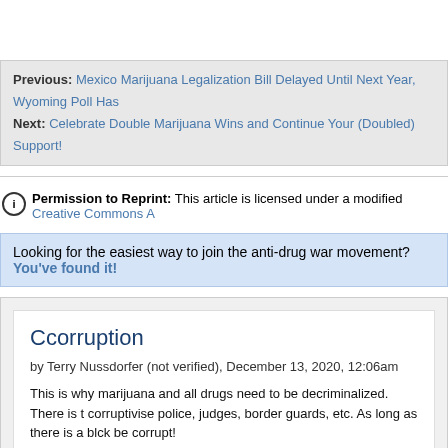Previous: Mexico Marijuana Legalization Bill Delayed Until Next Year, Wyoming Poll Has
Next: Celebrate Double Marijuana Wins and Continue Your (Doubled) Support!
Permission to Reprint: This article is licensed under a modified Creative Commons A
Looking for the easiest way to join the anti-drug war movement? You've found it!
Ccorruption
by Terry Nussdorfer (not verified), December 13, 2020, 12:06am
This is why marijuana and all drugs need to be decriminalized. There is t corruptivise police, judges, border guards, etc. As long as there is a blck be corrupt!
reply
Great info, let's do something with it